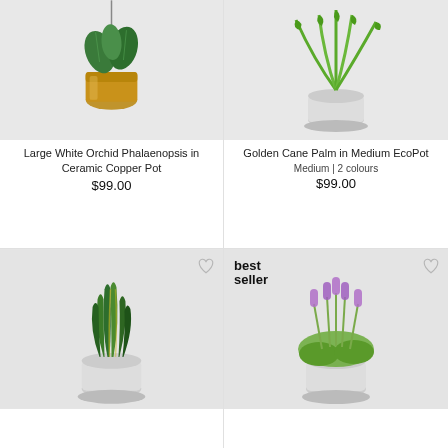[Figure (photo): Large White Orchid Phalaenopsis plant in a ceramic copper/gold hanging pot against light grey background]
Large White Orchid Phalaenopsis in Ceramic Copper Pot
$99.00
[Figure (photo): Golden Cane Palm in a medium white/cream EcoPot with saucer against light grey background]
Golden Cane Palm in Medium EcoPot
Medium | 2 colours
$99.00
[Figure (photo): Snake plant (Sansevieria) in a medium cream/white pot with saucer against light grey background]
[Figure (photo): Lavender plant with purple flowers in a cream/white pot with saucer against light grey background, labelled best seller]